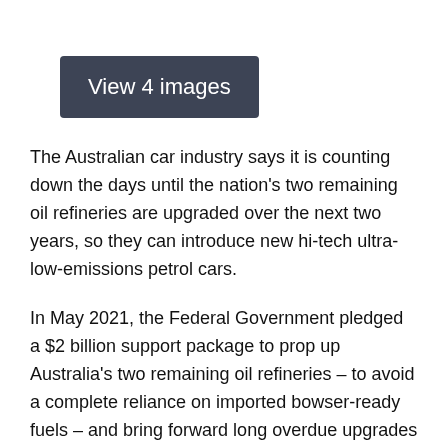[Figure (other): Dark blue-grey button/banner reading 'View 4 images']
The Australian car industry says it is counting down the days until the nation's two remaining oil refineries are upgraded over the next two years, so they can introduce new hi-tech ultra-low-emissions petrol cars.
In May 2021, the Federal Government pledged a $2 billion support package to prop up Australia's two remaining oil refineries – to avoid a complete reliance on imported bowser-ready fuels – and bring forward long overdue upgrades to produce world-standard unleaded petrol locally.
Within hours of last year's announcement, energy giant Ampol (formerly Caltex) confirmed its Lytton Refinery near Brisbane would remain operational "subject to the government's refining